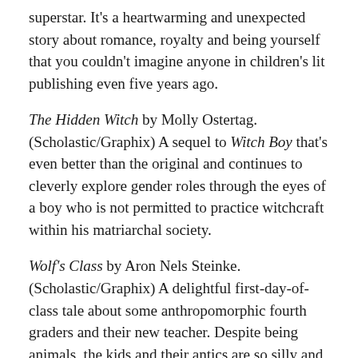superstar. It's a heartwarming and unexpected story about romance, royalty and being yourself that you couldn't imagine anyone in children's lit publishing even five years ago.
The Hidden Witch by Molly Ostertag. (Scholastic/Graphix) A sequel to Witch Boy that's even better than the original and continues to cleverly explore gender roles through the eyes of a boy who is not permitted to practice witchcraft within his matriarchal society.
Wolf's Class by Aron Nels Steinke. (Scholastic/Graphix) A delightful first-day-of-class tale about some anthropomorphic fourth graders and their new teacher. Despite being animals, the kids and their antics are so silly and relatable it reads like cinéma vérité for early elementary school readers.